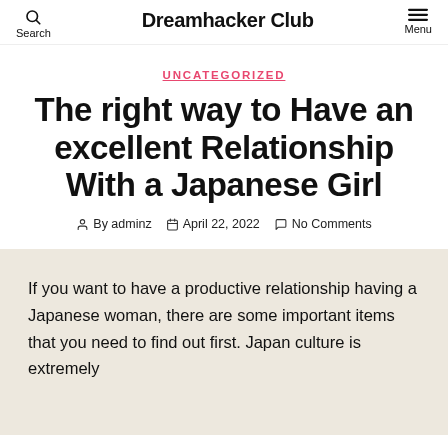Dreamhacker Club
UNCATEGORIZED
The right way to Have an excellent Relationship With a Japanese Girl
By adminz   April 22, 2022   No Comments
If you want to have a productive relationship having a Japanese woman, there are some important items that you need to find out first. Japan culture is extremely